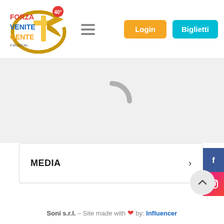[Figure (logo): Forza Venite Gente – Il Musical logo with 40th anniversary badge]
[Figure (other): Hamburger menu icon (three horizontal lines)]
[Figure (other): Login button (orange background)]
[Figure (other): Biglietti button (teal/cyan background)]
[Figure (other): Loading spinner (gray arc) on light gray background]
[Figure (other): Facebook social sidebar button (dark blue)]
[Figure (other): Instagram social sidebar button (pink/red gradient)]
MEDIA
[Figure (other): Scroll-to-top button (gray circle with chevron up)]
Soni s.r.l. – Site made with ❤ by: Influencer